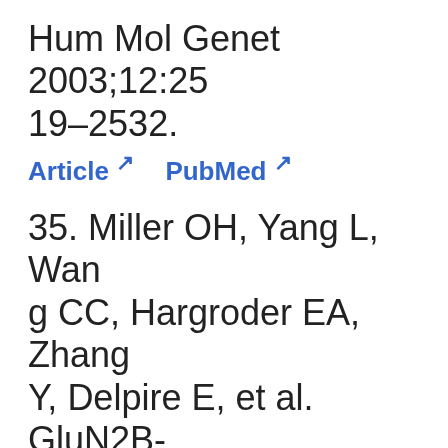Hum Mol Genet 2003;12:2519–2532.
Article  PubMed
35. Miller OH, Yang L, Wang CC, Hargroder EA, Zhang Y, Delpire E, et al. GluN2B-containing NMDA receptors regulate depression-like behavior and are critical for the rapid antidepressant actions of ketamine. Elife 2014;